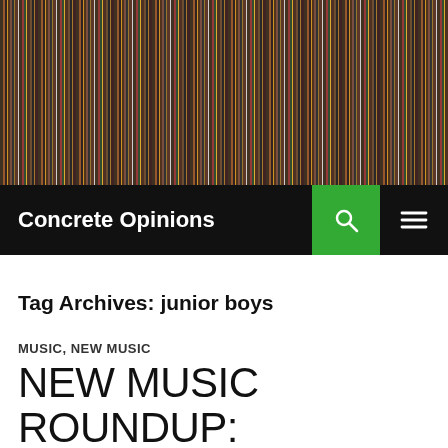[Figure (photo): Header image showing rows of records/CDs on shelves viewed from the side, densely packed with colorful spines]
Concrete Opinions
Tag Archives: junior boys
MUSIC, NEW MUSIC
NEW MUSIC ROUNDUP: 6/14/11
JUNE 14, 2011   CONCRETE OPINIONS   LEAVE A COMMENT
Not as much new music to sift through as last week, but there's